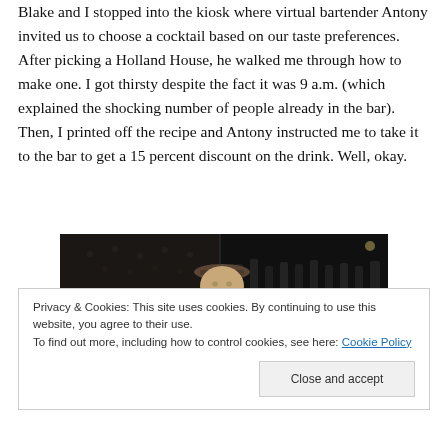Blake and I stopped into the kiosk where virtual bartender Antony invited us to choose a cocktail based on our taste preferences. After picking a Holland House, he walked me through how to make one. I got thirsty despite the fact it was 9 a.m. (which explained the shocking number of people already in the bar). Then, I printed off the recipe and Antony instructed me to take it to the bar to get a 15 percent discount on the drink. Well, okay.
[Figure (photo): Photo of a person wearing a flat cap and white shirt standing in a dark bar environment with bottles and shelving visible in the background]
Privacy & Cookies: This site uses cookies. By continuing to use this website, you agree to their use.
To find out more, including how to control cookies, see here: Cookie Policy